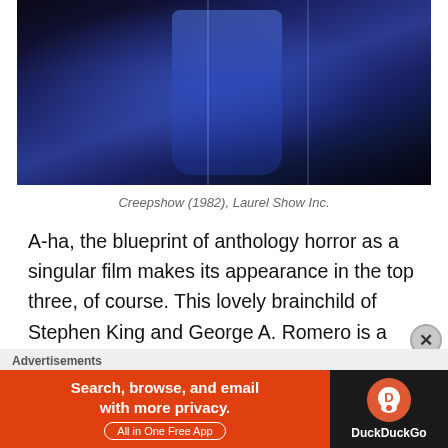[Figure (photo): A dark, moody blue-toned movie still from Creepshow (1982) showing a figure draped in blue cloth against a dark background]
Creepshow (1982), Laurel Show Inc.
A-ha, the blueprint of anthology horror as a singular film makes its appearance in the top three, of course. This lovely brainchild of Stephen King and George A. Romero is a cheesy delight, and remains the posterchild of anthology horror. The use of original storytelling in the height of Stephen King adaptations paid off well for the movie's success and budget. While you'll giggle at
[Figure (infographic): Advertisement banner: DuckDuckGo app ad with orange background saying 'Search, browse, and email with more privacy. All in One Free App' and DuckDuckGo logo on dark background]